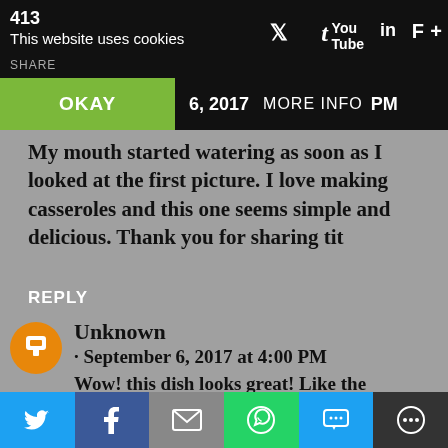413 This website uses cookies SHARE
OKAY  6, 2017  MORE INFO  PM
My mouth started watering as soon as I looked at the first picture. I love making casseroles and this one seems simple and delicious. Thank you for sharing tit
REPLY
Unknown
· September 6, 2017 at 4:00 PM
Wow! this dish looks great! Like the description, the photos and the dish itself. I dont eat pork (Jewish) but Im gonna try it without it. hopefully it will
Twitter | Facebook | Email | WhatsApp | SMS | More